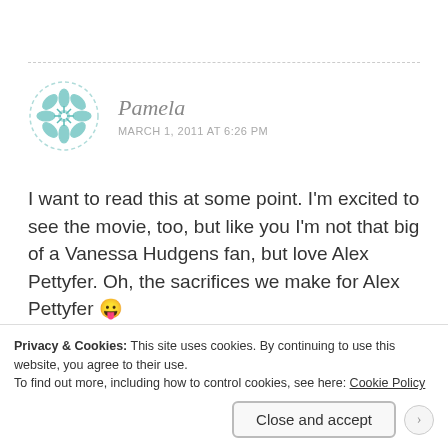[Figure (illustration): Circular avatar with teal/green geometric mandala-like pattern on white background with dashed border]
Pamela
MARCH 1, 2011 AT 6:26 PM
I want to read this at some point. I'm excited to see the movie, too, but like you I'm not that big of a Vanessa Hudgens fan, but love Alex Pettyfer. Oh, the sacrifices we make for Alex Pettyfer 😛
Reply
Privacy & Cookies: This site uses cookies. By continuing to use this website, you agree to their use.
To find out more, including how to control cookies, see here: Cookie Policy
Close and accept